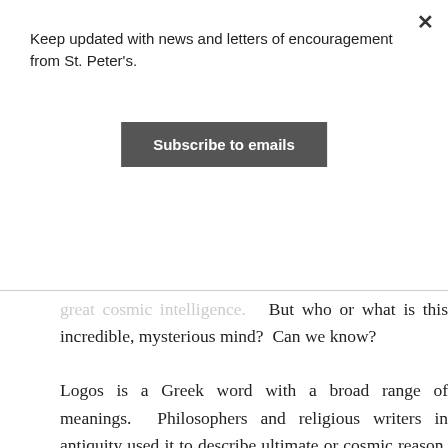Keep updated with news and letters of encouragement from St. Peter's.
Subscribe to emails
great cosmic intelligence.  But who or what is this incredible, mysterious mind?  Can we know?
Logos is a Greek word with a broad range of meanings.  Philosophers and religious writers in antiquity used it to describe ultimate or cosmic reason, truth, wisdom and the utterance or speech of God.  St John, a disciple of Jesus and the writer of the fourth Gospel found in the Bible, uses this word logos, translated into English as Word, to describe Jesus.  He begins his Gospel with these words ‘In the